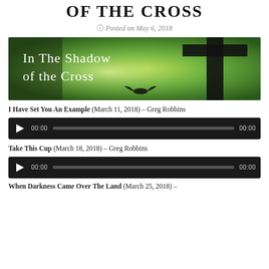OF THE CROSS
Posted on May 6, 2018
[Figure (illustration): Banner image showing a green background with a large dark cross silhouette and a bird silhouette at the bottom. Text overlay reads 'In The Shadow of the Cross' in white.]
I Have Set You An Example (March 11, 2018) – Greg Robbins
[Figure (other): Audio player with play button, time 00:00, progress bar, and end time 00:00]
Take This Cup (March 18, 2018) – Greg Robbins
[Figure (other): Audio player with play button, time 00:00, progress bar, and end time 00:00]
When Darkness Came Over The Land (March 25, 2018) –